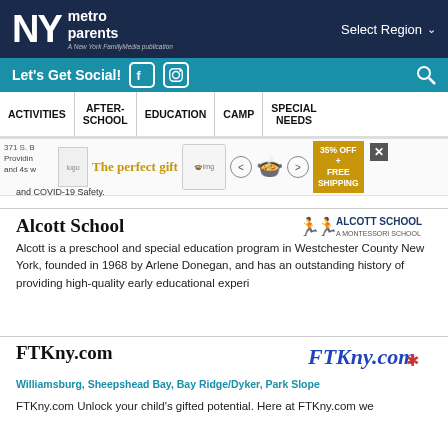NY metro parents — A New York FamilyMedia publication | Select Region
Let's Get Social!
ACTIVITIES | AFTER-SCHOOL | EDUCATION | CAMP | SPECIAL NEEDS
[Figure (screenshot): Advertisement banner showing 'The perfect gift' with food bowl image and '35% OFF + FREE SHIPPING' promo]
Alcott School
[Figure (logo): Alcott School - A Montessori School logo with two running children figures]
Alcott is a preschool and special education program in Westchester County New York, founded in 1968 by Arlene Donegan, and has an outstanding history of providing high-quality early educational experi
FTKny.com
[Figure (logo): FTKny.com logo in blue italic text with small decorative icon]
Williamsburg, Sheepshead Bay, Bay Ridge/Dyker, Park Slope
FTKny.com Unlock your child's gifted potential. Here at FTKny.com we